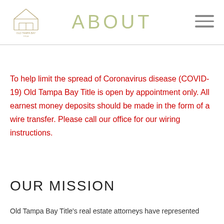ABOUT
To help limit the spread of Coronavirus disease (COVID-19) Old Tampa Bay Title is open by appointment only. All earnest money deposits should be made in the form of a wire transfer. Please call our office for our wiring instructions.
OUR MISSION
Old Tampa Bay Title's real estate attorneys have represented